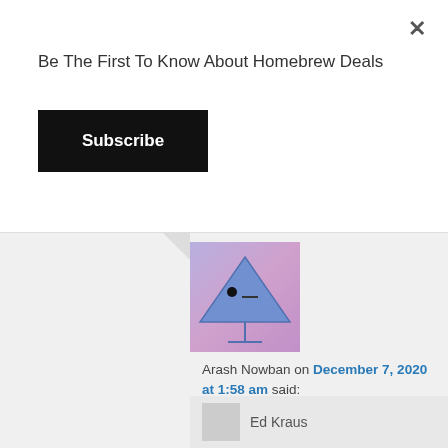Be The First To Know About Homebrew Deals
Subscribe
[Figure (illustration): User avatar: a stylized triangle/martini glass shape in blue on a purple-pink gradient background]
Arash Nowban on December 7, 2020 at 1:58 am said:
I have been making wine at home for the past 40 years, they always mature to be very good. But my problem into have sediment in the old bottles. Usually I wait 6 month to bottle my wine and they are perfectly clear at the time of racking. I do not filter them. can it be the reason?
Ed Kraus